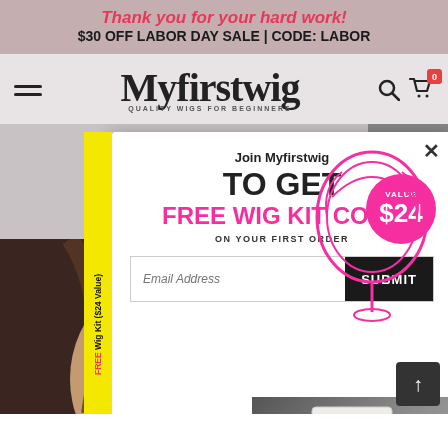Thank you for your hard work!
$30 OFF LABOR DAY SALE | CODE: LABOR
[Figure (logo): Myfirstwig logo - cursive text with tagline QUALITY WIGS FOR BEGINNERS]
[Figure (screenshot): Email signup modal popup: Join Myfirstwig TO GET FREE WIG KIT CODE ON YOUR FIRST ORDER, value $24 badge, email address input and SUBMIT button, yellow side tab FREE Wig Kit ($24 Value), pink wig stand product image]
[Figure (photo): Woman wearing brown highlighted wig, front part view, natural hairline]